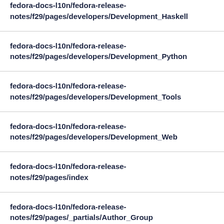fedora-docs-l10n/fedora-release-notes/f29/pages/developers/Development_Haskell
fedora-docs-l10n/fedora-release-notes/f29/pages/developers/Development_Python
fedora-docs-l10n/fedora-release-notes/f29/pages/developers/Development_Tools
fedora-docs-l10n/fedora-release-notes/f29/pages/developers/Development_Web
fedora-docs-l10n/fedora-release-notes/f29/pages/index
fedora-docs-l10n/fedora-release-notes/f29/pages/_partials/Author_Group